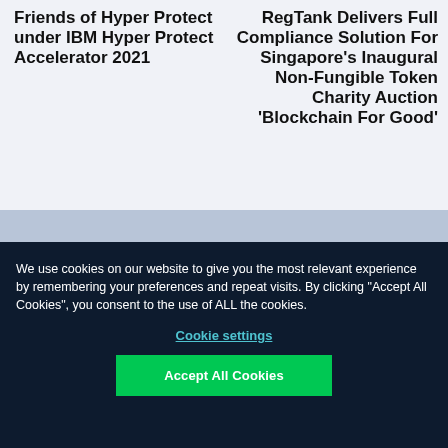RegTank selected as Friends of Hyper Protect under IBM Hyper Protect Accelerator 2021
RegTank Delivers Full Compliance Solution For Singapore's Inaugural Non-Fungible Token Charity Auction 'Blockchain For Good'
We use cookies on our website to give you the most relevant experience by remembering your preferences and repeat visits. By clicking "Accept All Cookies", you consent to the use of ALL the cookies.
Cookie settings
Accept All Cookies